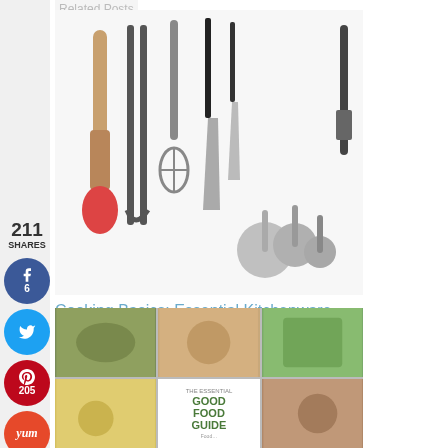Related Posts
211
SHARES
[Figure (photo): Kitchen utensils including spatula, tongs, whisk, and measuring spoons laid out on white background]
Cooking Basics: Essential Kitchenware
2017-08-14 05:46:33
Kyle
[Figure (photo): Collage of food images with 'The Essential Good Food Guide' book cover in center]
The Essential Good Food